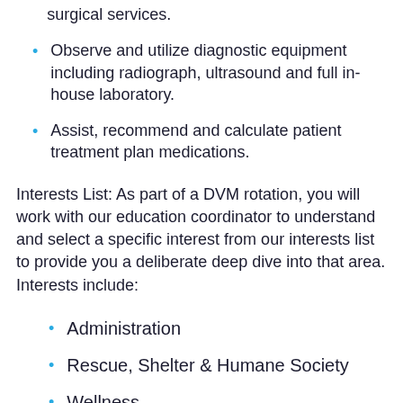surgical services.
Observe and utilize diagnostic equipment including radiograph, ultrasound and full in-house laboratory.
Assist, recommend and calculate patient treatment plan medications.
Interests List: As part of a DVM rotation, you will work with our education coordinator to understand and select a specific interest from our interests list to provide you a deliberate deep dive into that area. Interests include:
Administration
Rescue, Shelter & Humane Society
Wellness
Emergency